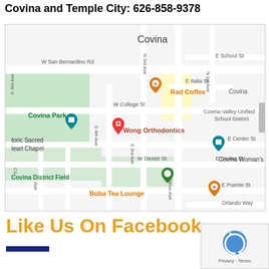Covina and Temple City: 626-858-9378
[Figure (map): Google Maps view centered on Covina area showing Wong Orthodontics location, nearby landmarks including Covina Park, Rad Coffee, Covina District Field, Boba Tea Lounge, Covina Woman's Club, and Historic Sacred Heart Chapel along streets including W San Bernardino Rd, W College St, N 3rd Ave, S 3rd Ave, S Citrus Ave.]
Like Us On Facebook
[Figure (logo): Google reCAPTCHA logo with Privacy and Terms links]